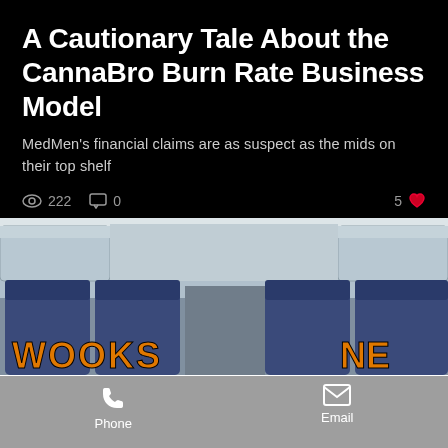A Cautionary Tale About the CannaBro Burn Rate Business Model
MedMen's financial claims are as suspect as the mids on their top shelf
222 views  0 comments  5 likes
[Figure (illustration): Cartoon illustration of a hippie-looking character with dreadlocks sitting in an airplane cabin holding a sign, with 'WOOKS' text visible at the bottom. Background shows rows of blue airplane seats and overhead compartments.]
Phone  Email